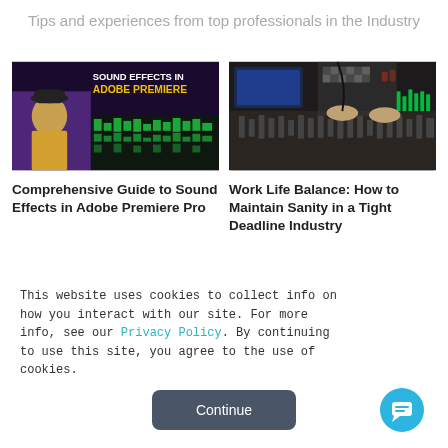Tips and experiences from top professionals in the Industry
[Figure (screenshot): Video thumbnail showing 'Sound Effects in Adobe Premiere' with a man in a yellow shirt and black hat in front of a dark video editing timeline]
[Figure (photo): Photo of a person in a checkered shirt working at a professional audio mixing console with multiple screens and glowing LED meters]
Comprehensive Guide to Sound Effects in Adobe Premiere Pro
Work Life Balance: How to Maintain Sanity in a Tight Deadline Industry
This website uses cookies to collect info on how you interact with our site. For more info, see our Privacy Policy. By continuing to use this site, you agree to the use of cookies.